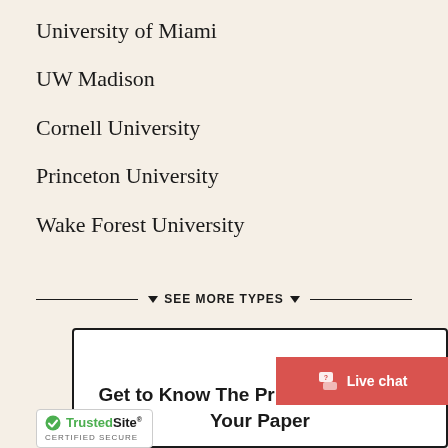University of Miami
UW Madison
Cornell University
Princeton University
Wake Forest University
▼ SEE MORE TYPES ▼
Get to Know The Price Estimate For Your Paper
Live chat
TrustedSite CERTIFIED SECURE